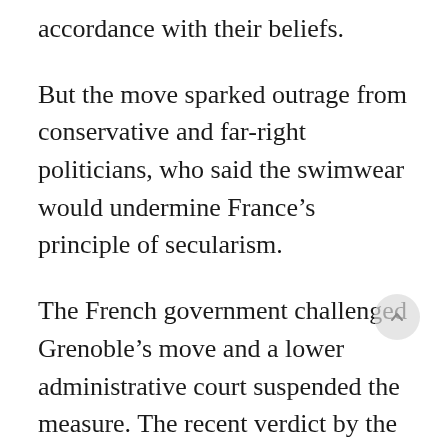accordance with their beliefs.
But the move sparked outrage from conservative and far-right politicians, who said the swimwear would undermine France’s principle of secularism.
The French government challenged Grenoble’s move and a lower administrative court suspended the measure. The recent verdict by the Conseil d’Etat upheld the lower court’s order: It said the new rule